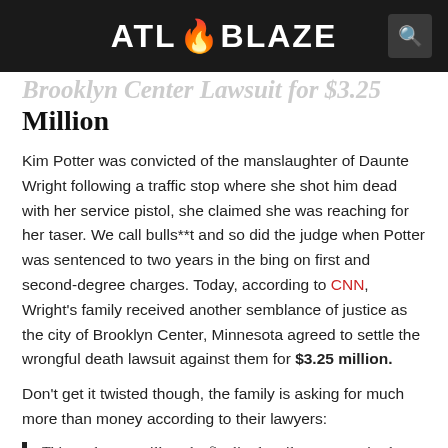ATL BLAZE
Brooklyn Center Lawsuit for $3.25 Million
Kim Potter was convicted of the manslaughter of Daunte Wright following a traffic stop where she shot him dead with her service pistol, she claimed she was reaching for her taser. We call bulls**t and so did the judge when Potter was sentenced to two years in the bing on first and second-degree charges. Today, according to CNN, Wright's family received another semblance of justice as the city of Brooklyn Center, Minnesota agreed to settle the wrongful death lawsuit against them for $3.25 million.
Don't get it twisted though, the family is asking for much more than money according to their lawyers:
This settlement will not be finalized until agreement is also